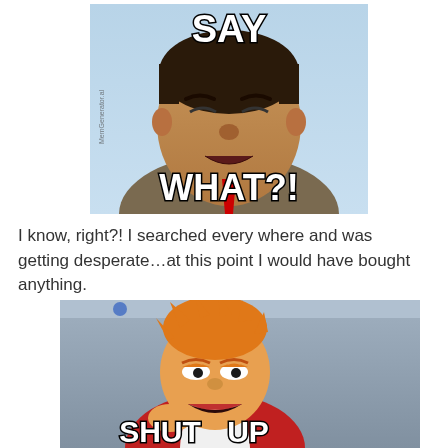[Figure (illustration): Meme image of Mr. Bean making an angry/shocked expression with white bold outlined text reading 'SAY' at the top and 'WHAT?!' at the bottom. Watermark 'MemGenerator.al' on the left side.]
I know, right?! I searched every where and was getting desperate…at this point I would have bought anything.
[Figure (illustration): Meme image of Futurama character Fry squinting with a shocked open mouth, against a grey background. Bold white outlined text at the bottom reads 'SHUT UP'.]